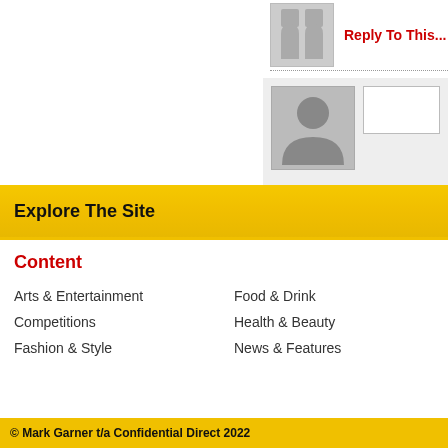[Figure (illustration): Small grey placeholder avatar icon with a reply link]
Reply To This...
[Figure (illustration): Large grey placeholder avatar/person icon in a comment form area]
Explore The Site
Content
Arts & Entertainment
Competitions
Fashion & Style
Food & Drink
Health & Beauty
News & Features
Offers
Travel
Venues
© Mark Garner t/a Confidential Direct 2022